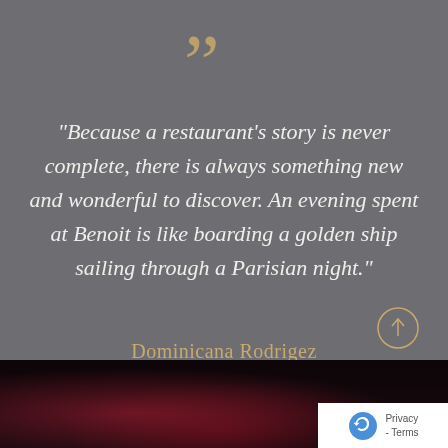[Figure (illustration): Large decorative quotation mark symbol in golden/copper color]
“Because a restaurant’s story is never complete, there is always something new and wonderful to discover. An evening spent at Benoit is like boarding a golden ship sailing through a Parisian night.”
Dominicana Rodrigez
[Figure (photo): Dark atmospheric photo of a person in a dimly lit restaurant setting with red/maroon tones]
[Figure (illustration): Circular scroll-up arrow button in golden outline style]
[Figure (logo): Google reCAPTCHA logo with Privacy and Terms links]